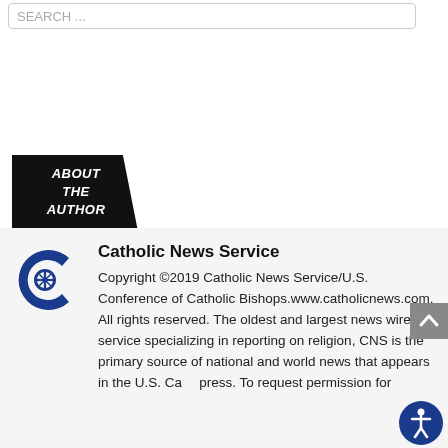[Figure (other): Search input box with placeholder text 'SEARCH...']
[Figure (other): Black diagonal badge reading 'ABOUT THE AUTHOR' in white bold italic text]
[Figure (logo): Catholic News Service logo - blue C shape with cross/compass icon inside]
Catholic News Service
Copyright ©2019 Catholic News Service/U.S. Conference of Catholic Bishops.www.catholicnews.com. All rights reserved. The oldest and largest news wire service specializing in reporting on religion, CNS is the primary source of national and world news that appears in the U.S. Ca... press. To request permission for